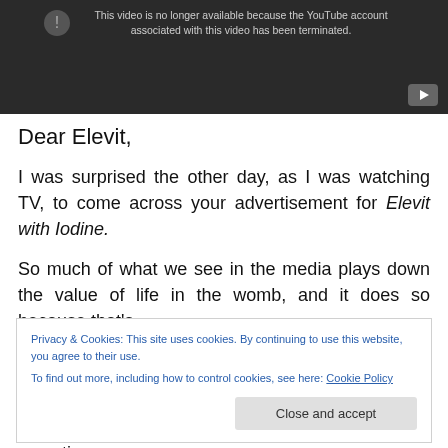[Figure (screenshot): YouTube video embed showing error: 'This video is no longer available because the YouTube account associated with this video has been terminated.' with a play button icon in bottom right on dark background.]
Dear Elevit,
I was surprised the other day, as I was watching TV, to come across your advertisement for Elevit with Iodine.
So much of what we see in the media plays down the value of life in the womb, and it does so because that's
Privacy & Cookies: This site uses cookies. By continuing to use this website, you agree to their use.
To find out more, including how to control cookies, see here: Cookie Policy
to feel that way, because life is tough, and sometimes